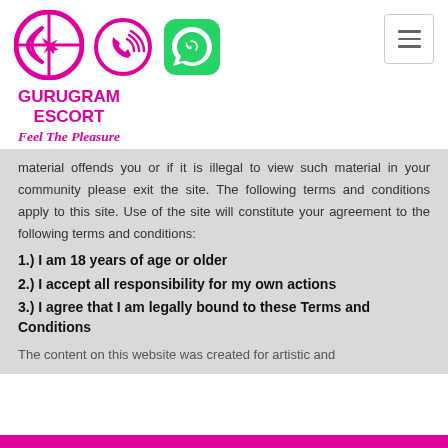[Figure (logo): Gurugram Escort logo: pink circle with GE letters and airplane, phone call circle icon, green WhatsApp icon, hamburger menu button]
GURUGRAM ESCORT
Feel The Pleasure
material offends you or if it is illegal to view such material in your community please exit the site. The following terms and conditions apply to this site. Use of the site will constitute your agreement to the following terms and conditions:
1.) I am 18 years of age or older
2.) I accept all responsibility for my own actions
3.) I agree that I am legally bound to these Terms and Conditions
The content on this website was created for artistic and